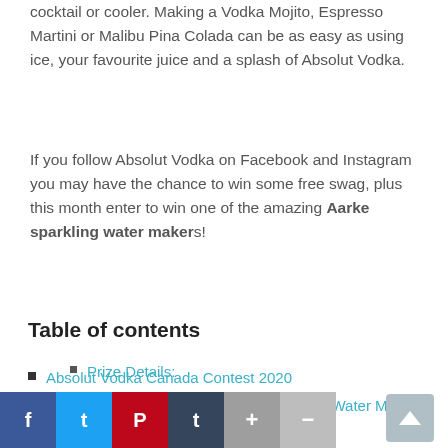cocktail or cooler. Making a Vodka Mojito, Espresso Martini or Malibu Pina Colada can be as easy as using ice, your favourite juice and a splash of Absolut Vodka.
If you follow Absolut Vodka on Facebook and Instagram you may have the chance to win some free swag, plus this month enter to win one of the amazing Aarke sparkling water makers!
Table of contents
Absolut Vodka Canada Contest 2020
< The ABSOLUT JUICE Aarke Sparkling Water Maker Contest >
Prize Details: